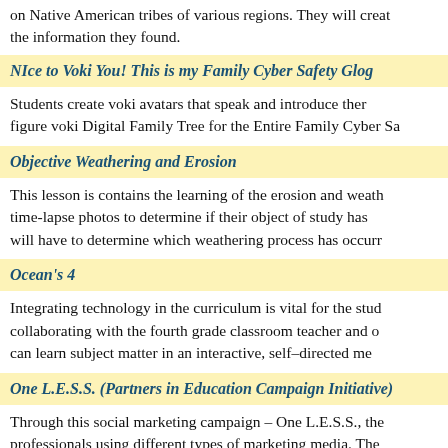on Native American tribes of various regions. They will create the information they found.
NIce to Voki You! This is my Family Cyber Safety Glog
Students create voki avatars that speak and introduce them figure voki Digital Family Tree for the Entire Family Cyber Sa
Objective Weathering and Erosion
This lesson is contains the learning of the erosion and weath time-lapse photos to determine if their object of study has will have to determine which weathering process has occurr
Ocean's 4
Integrating technology in the curriculum is vital for the stud collaborating with the fourth grade classroom teacher and can learn subject matter in an interactive, self-directed me
One L.E.S.S. (Partners in Education Campaign Initiative)
Through this social marketing campaign – One L.E.S.S., the professionals using different types of marketing media. The